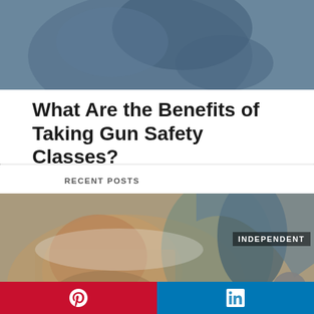[Figure (photo): Top portion of a photo showing a person, partially visible against a blue-grey background]
What Are the Benefits of Taking Gun Safety Classes?
RECENT POSTS
[Figure (photo): Photo of a smiling man at a dentist having teeth shade matched with a dental color chart held by a gloved hand. Text overlay says INDEPENDENT with a triangle/play button icon.]
[Figure (infographic): Social share bar with Pinterest (red, left) and LinkedIn (blue, right) buttons]